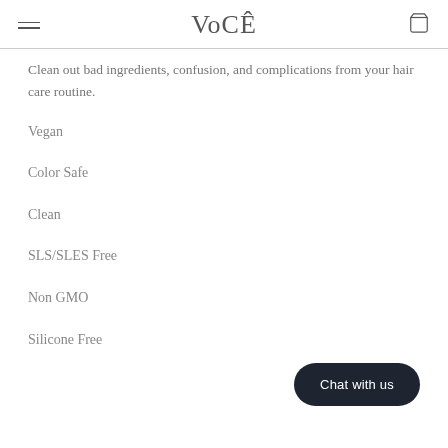VoCÊ
Clean out bad ingredients, confusion, and complications from your hair care routine.
Vegan
Color Safe
Clean
SLS/SLES Free
Non GMO
Silicone Free
Chat with us